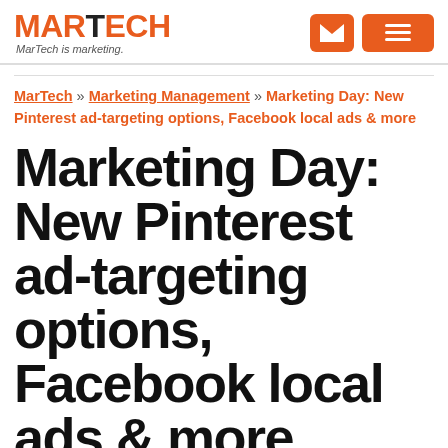MARTECH — MarTech is marketing.
MarTech » Marketing Management » Marketing Day: New Pinterest ad-targeting options, Facebook local ads & more
Marketing Day: New Pinterest ad-targeting options, Facebook local ads & more
Here's our recap of what happened in